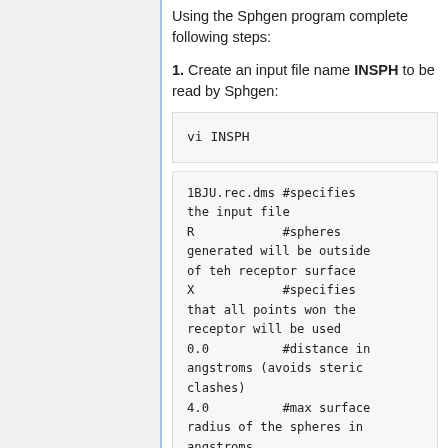Using the Sphgen program complete following steps:
1. Create an input file name INSPH to be read by Sphgen:
vi INSPH
1BJU.rec.dms #specifies the input file
R            #spheres generated will be outside of teh receptor surface
X            #specifies that all points won the receptor will be used
0.0          #distance in angstroms (avoids steric clashes)
4.0          #max surface radius of the spheres in angstroms